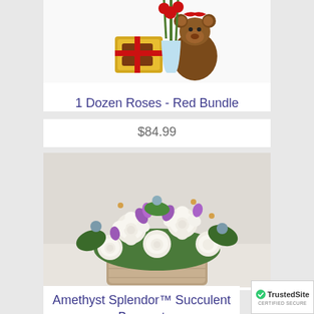[Figure (photo): Partial product image showing a red rose bundle with teddy bear and chocolate box gift set on white background]
1 Dozen Roses - Red Bundle
$84.99
[Figure (photo): Flower arrangement photo showing white roses and purple alstroemeria in a wooden box vase — Amethyst Splendor Succulent Bouquet]
Amethyst Splendor™ Succulent Bouquet
[Figure (logo): TrustedSite Certified Secure badge with green checkmark]